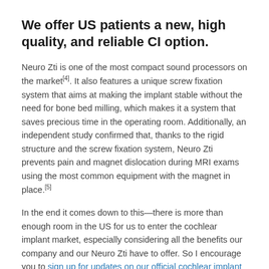We offer US patients a new, high quality, and reliable CI option.
Neuro Zti is one of the most compact sound processors on the market[4]. It also features a unique screw fixation system that aims at making the implant stable without the need for bone bed milling, which makes it a system that saves precious time in the operating room. Additionally, an independent study confirmed that, thanks to the rigid structure and the screw fixation system, Neuro Zti prevents pain and magnet dislocation during MRI exams using the most common equipment with the magnet in place.[5]
In the end it comes down to this—there is more than enough room in the US for us to enter the cochlear implant market, especially considering all the benefits our company and our Neuro Zti have to offer. So I encourage you to sign up for updates on our official cochlear implant release and